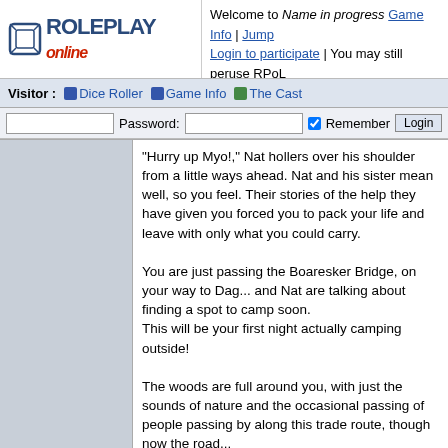Welcome to Name in progress  Game Info  Jump  Login to participate | You may still peruse RPoL  Game Menu
Visitor :  Dice Roller  Game Info  The Cast
"Hurry up Myo!," Nat hollers over his shoulder from a little ways ahead. Nat and his sister mean well, so you feel. Their stories of the help they have given you forced you to pack your life and leave with only what you could carry.

You are just passing the Boaresker Bridge, on your way to Dag... and Nat are talking about finding a spot to camp soon. This will be your first night actually camping outside!

The woods are full around you, with just the sounds of nature and the occasional passing of people passing by along this trade route, though now the road...

OOC: what do you do next? talk to the others? look around the area? ask where you are headed? something else?
This message was last edited by the GM at 22:55, Wed 13 Sept 2017.
Storyteller
GM, 8 posts
Wed 13 Sep 2017
at 18:42
Gildor Inglorien
coming soon?
[top]
Main Menu | Game Menu | Private Messages | Jump | <0.033s | Login